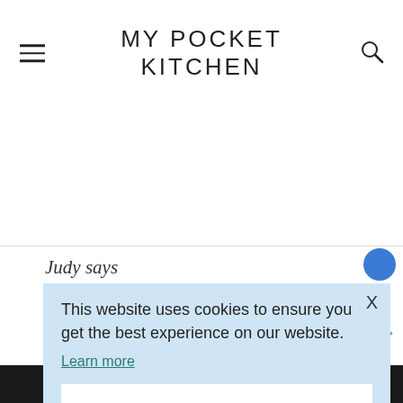MY POCKET KITCHEN
Judy says
This website uses cookies to ensure you get the best experience on our website. Learn more
Got it
ks